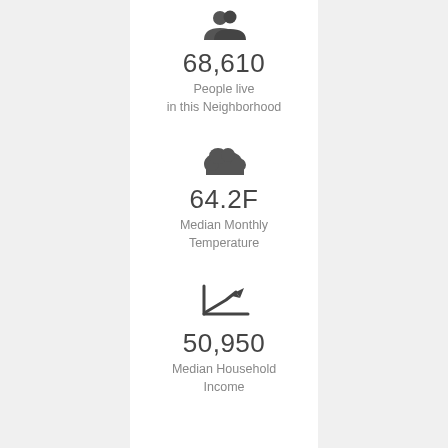[Figure (infographic): Icon of two people (silhouettes) representing population]
68,610
People live in this Neighborhood
[Figure (infographic): Cloud icon representing weather/temperature]
64.2F
Median Monthly Temperature
[Figure (infographic): Trending upward line chart icon representing income growth]
50,950
Median Household Income